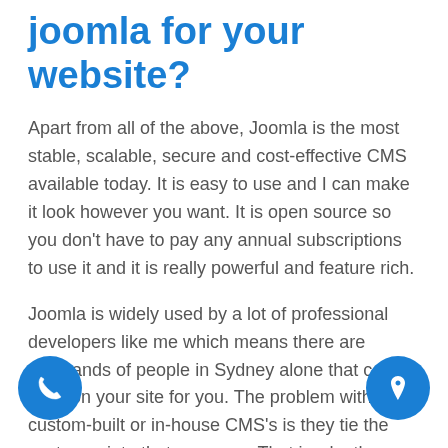joomla for your website?
Apart from all of the above, Joomla is the most stable, scalable, secure and cost-effective CMS available today. It is easy to use and I can make it look however you want. It is open source so you don't have to pay any annual subscriptions to use it and it is really powerful and feature rich.
Joomla is widely used by a lot of professional developers like me which means there are thousands of people in Sydney alone that can work on your site for you. The problem with custom-built or in-house CMS's is they tie the customer into that company. That is why they use them, you cannot go anywhere else. Well you can but you will probably have to completely rebuild website with a new company. With Joomla, if I run over by a bus, you can simply contact any other